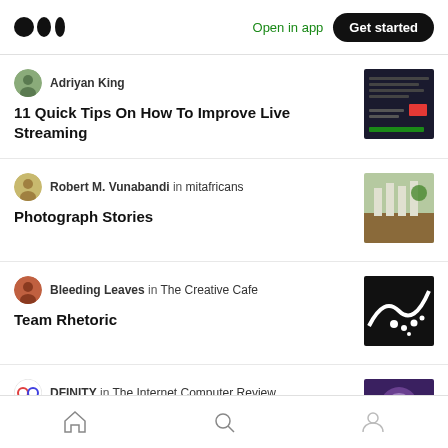Medium logo | Open in app | Get started
Adriyan King — 11 Quick Tips On How To Improve Live Streaming
Robert M. Vunabandi in mitafricans — Photograph Stories
Bleeding Leaves in The Creative Cafe — Team Rhetoric
DFINITY in The Internet Computer Review — Rebooting the Internet: Andreessen
Home | Search | Profile